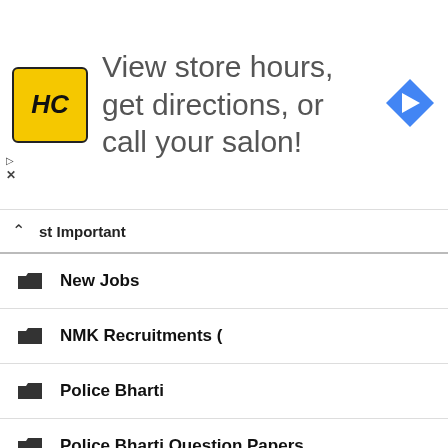[Figure (infographic): Ad banner with HC yellow logo, text 'View store hours, get directions, or call your salon!' and a blue diamond navigation arrow icon]
Most Important (dropdown header with caret)
New Jobs
NMK Recruitments (
Police Bharti
Police Bharti Question Papers
Post Graduates Jobs
Question Papers
Rajyaseva Pre Question Sets
Results
Results (